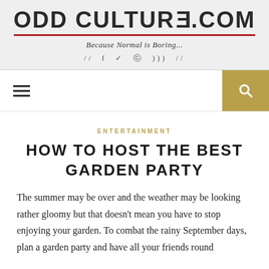ODD CULTURE.COM
Because Normal is Boring...
// f ✓ ☎ ))) //
ENTERTAINMENT
HOW TO HOST THE BEST GARDEN PARTY
The summer may be over and the weather may be looking rather gloomy but that doesn't mean you have to stop enjoying your garden. To combat the rainy September days, plan a garden party and have all your friends round